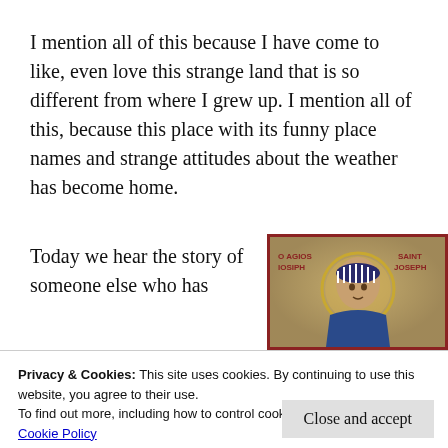I mention all of this because I have come to like, even love this strange land that is so different from where I grew up. I mention all of this, because this place with its funny place names and strange attitudes about the weather has become home.
Today we hear the story of someone else who has
[Figure (photo): Byzantine-style icon with gold background showing a haloed figure, labeled 'O AGIOS IOSIPH' on the left and 'SAINT JOSEPH' on the right]
Privacy & Cookies: This site uses cookies. By continuing to use this website, you agree to their use.
To find out more, including how to control cookies, see here:
Cookie Policy
Close and accept
Joseph such preferential